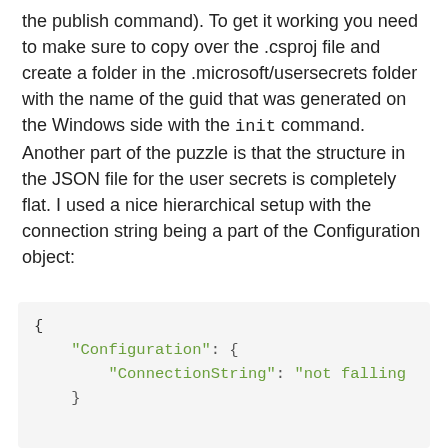the publish command). To get it working you need to make sure to copy over the .csproj file and create a folder in the .microsoft/usersecrets folder with the name of the guid that was generated on the Windows side with the init command. Another part of the puzzle is that the structure in the JSON file for the user secrets is completely flat. I used a nice hierarchical setup with the connection string being a part of the Configuration object:
[Figure (screenshot): Code block showing JSON with Configuration object containing ConnectionString key with value 'not falling' (truncated)]